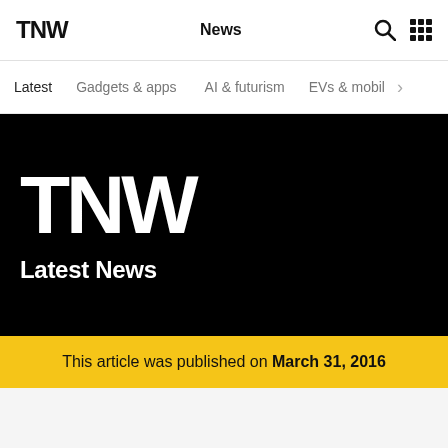TNW  News
Latest  Gadgets & apps  AI & futurism  EVs & mobil >
[Figure (logo): TNW logo large white on black background with 'Latest News' subtitle]
This article was published on March 31, 2016